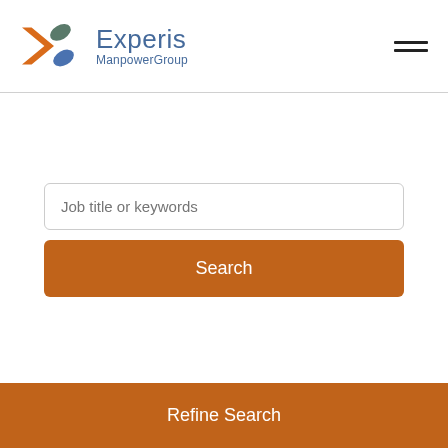[Figure (logo): Experis ManpowerGroup logo with orange and teal/blue X shape and blue text]
Job title or keywords
Search
Refine Search